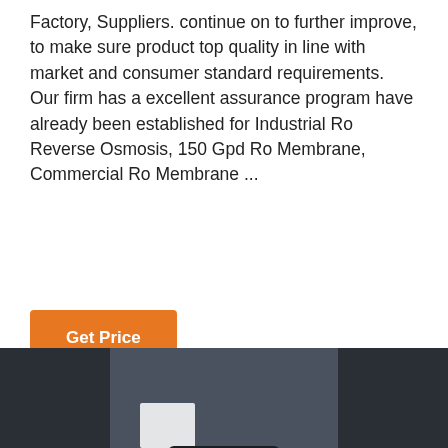Factory, Suppliers. continue on to further improve, to make sure product top quality in line with market and consumer standard requirements. Our firm has a excellent assurance program have already been established for Industrial Ro Reverse Osmosis, 150 Gpd Ro Membrane, Commercial Ro Membrane ...
Get Price
[Figure (photo): Close-up photo of industrial reverse osmosis water filtration equipment showing a large blue cylindrical membrane canister with dark cap, surrounded by dark industrial racking and panels]